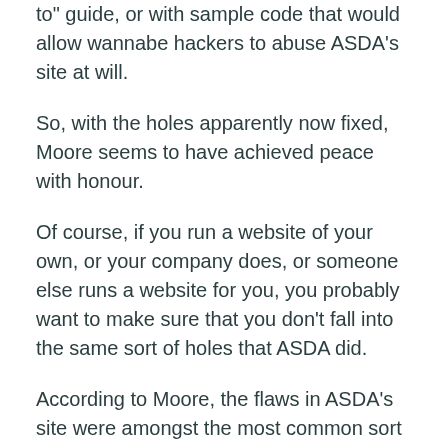to" guide, or with sample code that would allow wannabe hackers to abuse ASDA’s site at will.
So, with the holes apparently now fixed, Moore seems to have achieved peace with honour.
Of course, if you run a website of your own, or your company does, or someone else runs a website for you, you probably want to make sure that you don’t fall into the same sort of holes that ASDA did.
According to Moore, the flaws in ASDA’s site were amongst the most common sort of web programming mistakes, namely XSS (Cross Site Scripting) and CSRF (Cross Site Request Forgery).
If you’re a techie, you can read up on these issues –